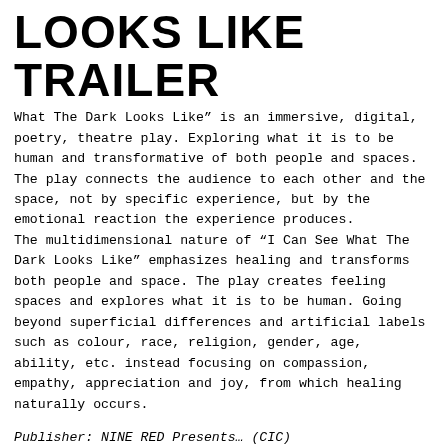LOOKS LIKE  TRAILER
What The Dark Looks Like" is an immersive, digital, poetry, theatre play. Exploring what it is to be human and transformative of both people and spaces. The play connects the audience to each other and the space, not by specific experience, but by the emotional reaction the experience produces. The multidimensional nature of "I Can See What The Dark Looks Like" emphasizes healing and transforms both people and space. The play creates feeling spaces and explores what it is to be human. Going beyond superficial differences and artificial labels such as colour, race, religion, gender, age, ability, etc. instead focusing on compassion, empathy, appreciation and joy, from which healing naturally occurs.
Publisher: NINE RED Presents… (CIC)